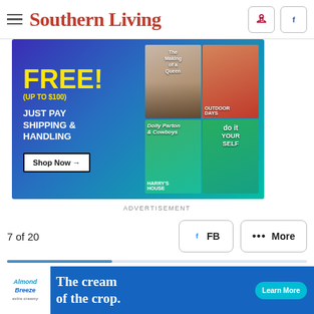Southern Living
[Figure (illustration): Advertisement banner with purple-to-teal gradient background. Left side: 'FREE!' in yellow, '(UP TO $100)' in yellow, 'JUST PAY SHIPPING & HANDLING' in white bold, 'Shop Now →' button. Right side: 2x2 grid of magazine covers including 'The Making of a Queen', 'do it YOURSELF', Harry Styles magazine covers.]
ADVERTISEMENT
7 of 20
[Figure (screenshot): Social share buttons: FB button with Facebook icon, and More button with three dots.]
[Figure (illustration): Bottom advertisement for Almond Breeze: blue background, Almond Breeze logo on left, 'The cream of the crop.' text in white, Learn More button in cyan.]